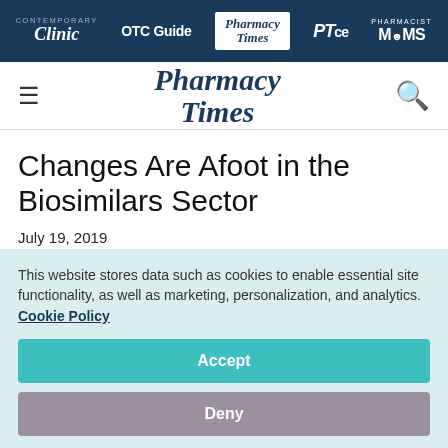Contemporary Clinic | OTC Guide | Pharmacy Times | PTce | Pharmacist MOMS
[Figure (logo): Pharmacy Times logo with hamburger menu and search icon]
Changes Are Afoot in the Biosimilars Sector
July 19, 2019
Andrew J. Donnelly, PharmD, MBA, FASHP
This website stores data such as cookies to enable essential site functionality, as well as marketing, personalization, and analytics. Cookie Policy
Accept
Deny